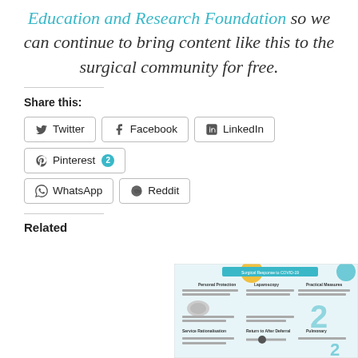Education and Research Foundation so we can continue to bring content like this to the surgical community for free.
Share this:
Twitter
Facebook
LinkedIn
Pinterest 2
WhatsApp
Reddit
Related
[Figure (screenshot): A screenshot of a document titled 'Surgical Response to COVID-19' with sections on Personal Protection, Laparoscopy, and Practical Measures with infographic-style content.]